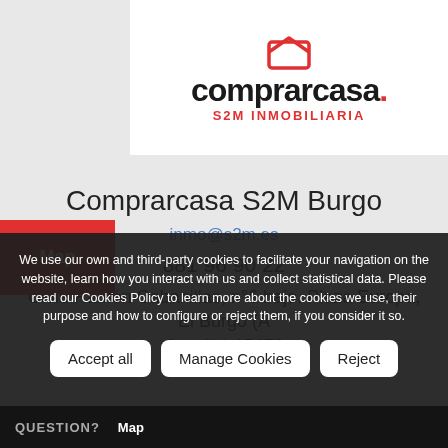[Figure (logo): Comprarcasa S2M Inmobiliaria logo with red house icon and red dot after 'comprarcasa']
Map
Comprarcasa S2M Burgo
inmo@s2m.es
881 96 90 22
Calle Ramón Cabanillas, n°6 bajo. Plaza Europa, El Burgo (A Coruña) 15670
We use our own and third-party cookies to facilitate your navigation on the website, learn how you interact with us and collect statistical data. Please read our Cookies Policy to learn more about the cookies we use, their purpose and how to configure or reject them, if you consider it so.
Accept all
Manage Cookies
Reject
QUESTION?   Map